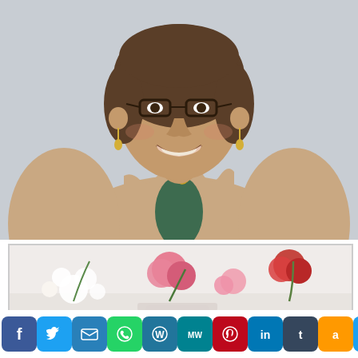[Figure (photo): A smiling woman with short brown hair and glasses, wearing a tan scallop-edged blazer and a gold leaf necklace, photographed against a light gray background.]
[Figure (photo): A floral arrangement with pink and red carnations and white flowers, partially visible at the bottom of the page behind a white frame.]
[Figure (infographic): A row of social media share buttons at the bottom of the page: Facebook (blue), Twitter (light blue), Email (blue), WhatsApp (green), WordPress (dark blue), MeWe (teal), Pinterest (red), LinkedIn (blue), Tumblr (dark blue), Amazon (orange), and a More/Plus button (blue).]